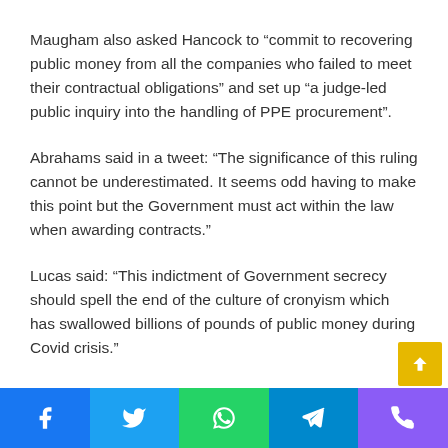Maugham also asked Hancock to “commit to recovering public money from all the companies who failed to meet their contractual obligations” and set up “a judge-led public inquiry into the handling of PPE procurement”.
Abrahams said in a tweet: “The significance of this ruling cannot be underestimated. It seems odd having to make this point but the Government must act within the law when awarding contracts.”
Lucas said: “This indictment of Government secrecy should spell the end of the culture of cronyism which has swallowed billions of pounds of public money during Covid crisis.”
Social share bar with Facebook, Twitter, WhatsApp, Telegram, Phone icons